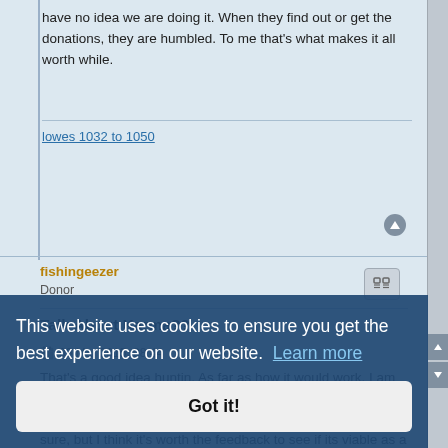have no idea we are doing it. When they find out or get the donations, they are humbled. To me that's what makes it all worth while.
lowes 1032 to 1050
fishingeezer
Donor
Talk About Karma??
09 Mar 2015, 08:44
That's a good idea huntin. As far as how it would work, I am not sure. We have admin people on this site, and maybe they could verify the need and hold the funds then send them? Not sure, but I think it's worth the feedback to see if its viable as a solution...
This website uses cookies to ensure you get the best experience on our website.  Learn more
Got it!
Captain Ahab
Talk About Karma??
09 Mar 2015, 08:51